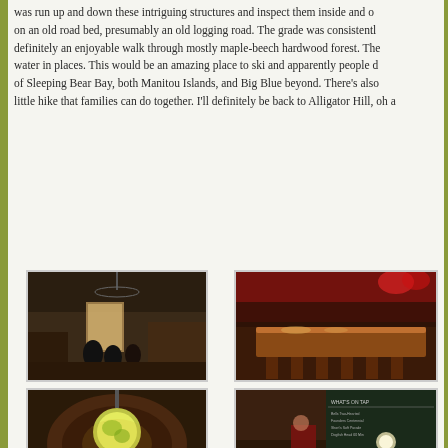was run up and down these intriguing structures and inspect them inside and out on an old road bed, presumably an old logging road. The grade was consistently definitely an enjoyable walk through mostly maple-beech hardwood forest. The water in places. This would be an amazing place to ski and apparently people d of Sleeping Bear Bay, both Manitou Islands, and Big Blue beyond. There's also little hike that families can do together. I'll definitely be back to Alligator Hill, oh a
[Figure (photo): Interior of a bar/restaurant, dark ambiance, ceiling fans visible, silhouettes of people seated, warm window light]
[Figure (photo): Bar interior with warm orange/red tones, long wooden bar counter, bar stools, liquor bottles visible]
[Figure (photo): Close-up of a decorative glass lamp or globe light fixture with green and warm colors, blurred background]
[Figure (photo): Bar interior with chalkboard menu visible reading 'What's on Tap', warm lighting, rustic decor]